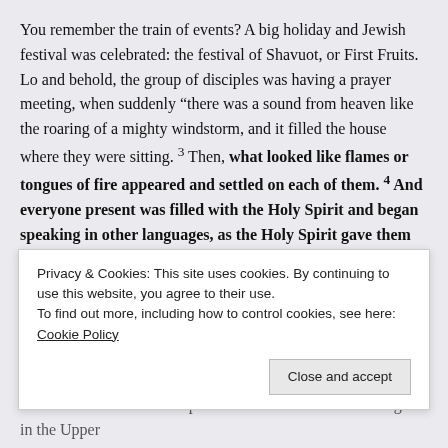You remember the train of events? A big holiday and Jewish festival was celebrated: the festival of Shavuot, or First Fruits. Lo and behold, the group of disciples was having a prayer meeting, when suddenly “there was a sound from heaven like the roaring of a mighty windstorm, and it filled the house where they were sitting. 3 Then, what looked like flames or tongues of fire appeared and settled on each of them. 4 And everyone present was filled with the Holy Spirit and began speaking in other languages, as the Holy Spirit gave them this ability.”
The disciples were as surprised as anyone! Yet, Peter realized what was going on and as one of the spokesmen for the disciples, he stood up and proclaimed that this was indeed an earthshaking sign from God! He even quoted from the prophet Joel, about the descending of the Spirit of God.
I am certain that as Peter spoke he remembered that last night in the Upper
Privacy & Cookies: This site uses cookies. By continuing to use this website, you agree to their use.
To find out more, including how to control cookies, see here: Cookie Policy